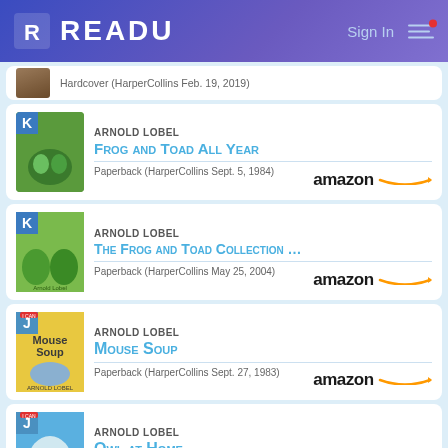READU — Sign In
Hardcover (HarperCollins Feb. 19, 2019)
ARNOLD LOBEL
Frog and Toad All Year
Paperback (HarperCollins Sept. 5, 1984)
ARNOLD LOBEL
The Frog and Toad Collection …
Paperback (HarperCollins May 25, 2004)
ARNOLD LOBEL
Mouse Soup
Paperback (HarperCollins Sept. 27, 1983)
ARNOLD LOBEL
Owl at Home
Paperback (HarperCollins Oct. 18, 1982)
ARNOLD LOBEL
Mouse Tales